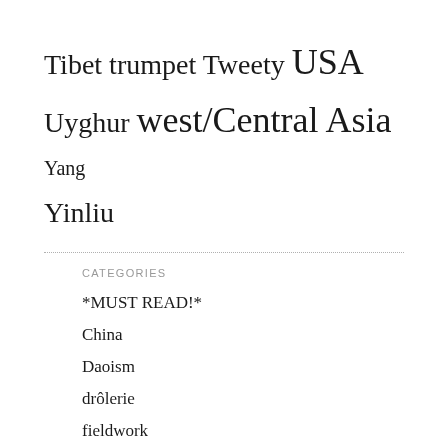Tibet trumpet Tweety USA
Uyghur west/Central Asia Yang
Yinliu
CATEGORIES
*MUST READ!*
China
Daoism
drôlerie
fieldwork
gender
in China